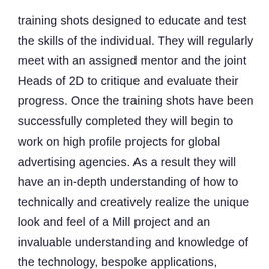training shots designed to educate and test the skills of the individual. They will regularly meet with an assigned mentor and the joint Heads of 2D to critique and evaluate their progress. Once the training shots have been successfully completed they will begin to work on high profile projects for global advertising agencies. As a result they will have an in-depth understanding of how to technically and creatively realize the unique look and feel of a Mill project and an invaluable understanding and knowledge of the technology, bespoke applications, workflow, methodologies and pipeline across six offices, strong relationships with their peers in those locations and a clear understanding of the high level of creative output required.